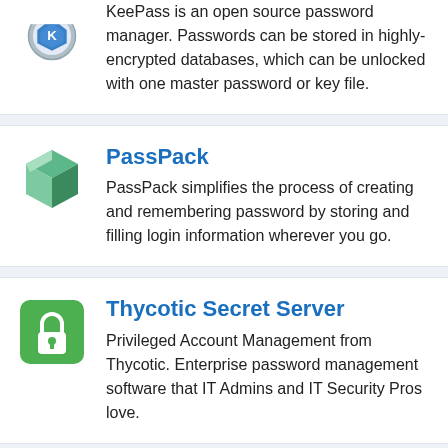[Figure (logo): KeePass logo — circular blue and white shield icon (partially cropped at top)]
KeePass is an open source password manager. Passwords can be stored in highly-encrypted databases, which can be unlocked with one master password or key file.
[Figure (logo): PassPack logo — green 3D box/package icon]
PassPack
PassPack simplifies the process of creating and remembering password by storing and filling login information wherever you go.
[Figure (logo): Thycotic Secret Server logo — green square icon with white padlock symbol]
Thycotic Secret Server
Privileged Account Management from Thycotic. Enterprise password management software that IT Admins and IT Security Pros love.
» All True Key alternatives